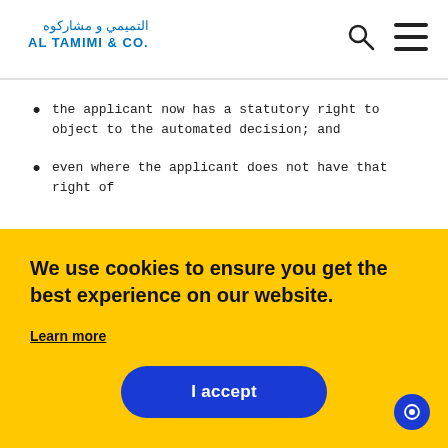التميمي و مشاركوه AL TAMIMI & CO.
the applicant now has a statutory right to object to the automated decision; and
even where the applicant does not have that right of
We use cookies to ensure you get the best experience on our website.
Learn more
I accept